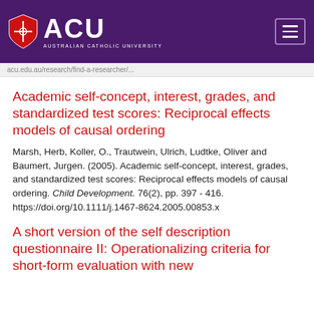[Figure (logo): ACU (Australian Catholic University) logo with purple header bar and hamburger menu icon]
acu.edu.au/research/find-a-researcher/...
Academic self-concept, interest, grades, and standardized test scores: Reciprocal effects models of causal ordering
Marsh, Herb, Koller, O., Trautwein, Ulrich, Ludtke, Oliver and Baumert, Jurgen. (2005). Academic self-concept, interest, grades, and standardized test scores: Reciprocal effects models of causal ordering. Child Development. 76(2), pp. 397 - 416. https://doi.org/10.1111/j.1467-8624.2005.00853.x
A short version of the self description questionnaire II: Operationalizing criteria for short-form evaluation with new